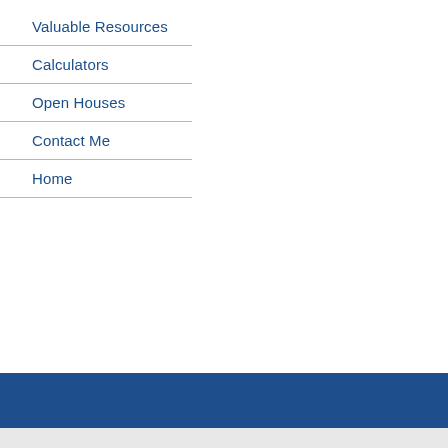Valuable Resources
Calculators
Open Houses
Contact Me
Home